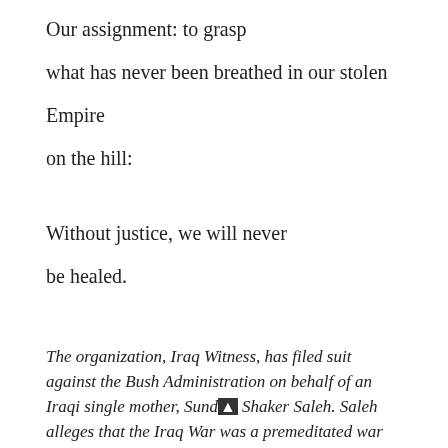Our assignment: to grasp
what has never been breathed in our stolen
Empire
on the hill:
Without justice, we will never
be healed.
The organization, Iraq Witness, has filed suit against the Bush Administration on behalf of an Iraqi single mother, Sund▲ Shaker Saleh. Saleh alleges that the Iraq War was a premeditated war against the Iraqi people — and now she is the lead plaintiff in a class action lawsuit against six key members of the Bush administration.